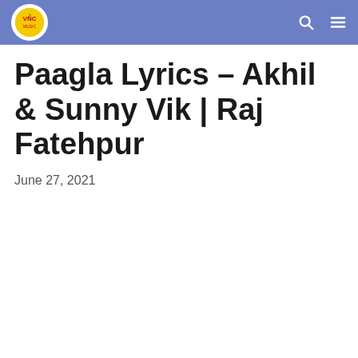VNC Music — site header with logo, search icon, and menu icon
Paagla Lyrics – Akhil & Sunny Vik | Raj Fatehpur
June 27, 2021